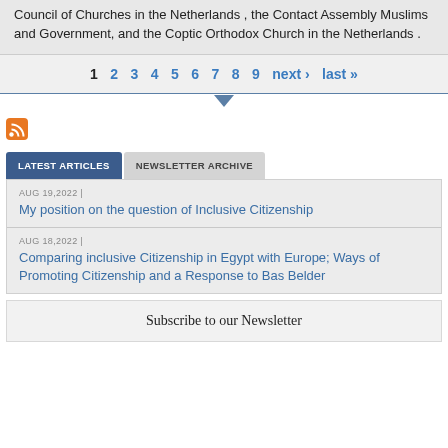Council of Churches in the Netherlands , the Contact Assembly Muslims and Government, and the Coptic Orthodox Church in the Netherlands .
1 2 3 4 5 6 7 8 9 next › last »
LATEST ARTICLES | NEWSLETTER ARCHIVE
AUG 19,2022 |
My position on the question of Inclusive Citizenship
AUG 18,2022 |
Comparing inclusive Citizenship in Egypt with Europe; Ways of Promoting Citizenship and a Response to Bas Belder
Subscribe to our Newsletter